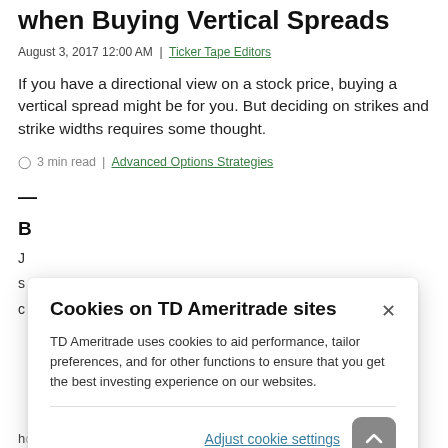when Buying Vertical Spreads
August 3, 2017 12:00 AM  |  Ticker Tape Editors
If you have a directional view on a stock price, buying a vertical spread might be for you. But deciding on strikes and strike widths requires some thought.
⊙ 3 min read  |  Advanced Options Strategies
[Figure (screenshot): Cookie consent dialog overlay on TD Ameritrade website. Title: 'Cookies on TD Ameritrade sites'. Body: 'TD Ameritrade uses cookies to aid performance, tailor preferences, and for other functions to ensure that you get the best investing experience on our websites.' Footer link: 'Adjust cookie settings'. Close button (×) in top right corner. Scroll-to-top button (up arrow) in lower right.]